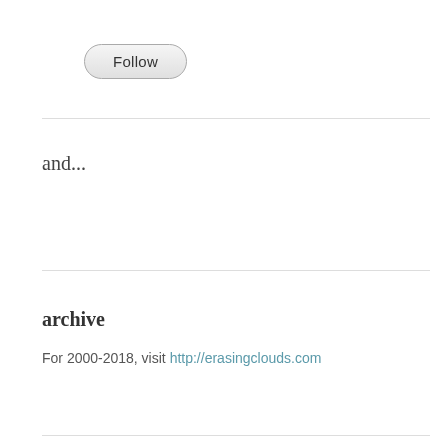[Figure (other): A rounded pill-shaped button labeled 'Follow' with a light gray gradient background and gray border]
and...
archive
For 2000-2018, visit http://erasingclouds.com